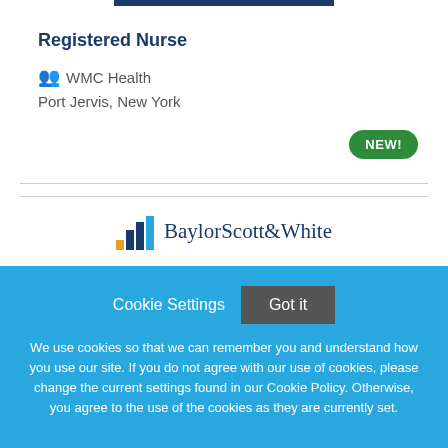Registered Nurse
WMC Health
Port Jervis, New York
NEW!
[Figure (logo): Baylor Scott & White logo with stylized bar chart icon and text]
Cookie Settings   Got it
We use cookies so that we can remember you and understand how you use our site. If you do not agree with our use of cookies, please change the current settings found in our Cookie Policy. Otherwise, you agree to the use of the cookies as they are currently set.